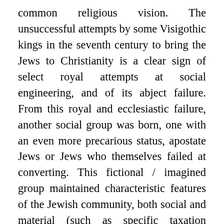common religious vision. The unsuccessful attempts by some Visigothic kings in the seventh century to bring the Jews to Christianity is a clear sign of select royal attempts at social engineering, and of its abject failure. From this royal and ecclesiastic failure, another social group was born, one with an even more precarious status, apostate Jews or Jews who themselves failed at converting. This fictional / imagined group maintained characteristic features of the Jewish community, both social and material (such as specific taxation requirements). This new body of persons was formed by the strong internal movement for unity led by Visigothic kings and bishops. The idea was to incorporate former Jews into the grand triad of rex, gens et patria Gothorum, but various factors transformed them more into some spiritual and